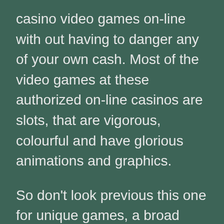casino video games on-line with out having to danger any of your own cash. Most of the video games at these authorized on-line casinos are slots, that are vigorous, colourful and have glorious animations and graphics.
So don't look previous this one for unique games, a broad range of slots, and nice ongoing promotions for each casino gamers and sports activities bettors. Sign up at Betway Casino at present for a 100 percent deposit-match bonus up to $1,000. Having a broad selection of slots and on-line on line casino games to select from is essential to all players.